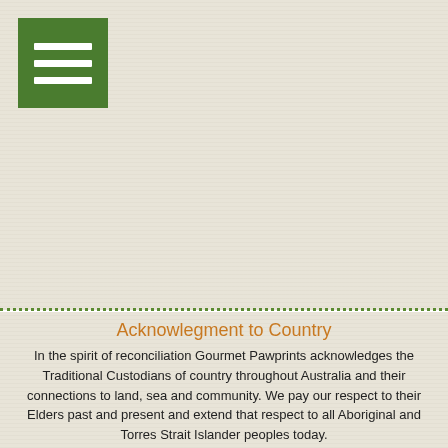[Figure (other): Green hamburger menu button with three white horizontal lines on top-left of page]
Acknowlegment to Country
In the spirit of reconciliation Gourmet Pawprints acknowledges the Traditional Custodians of country throughout Australia and their connections to land, sea and community. We pay our respect to their Elders past and present and extend that respect to all Aboriginal and Torres Strait Islander peoples today.
Terms and Conditions
Unsubscribe
Guest Details Form
Privacy Policy
Do you have more questions?
Reply